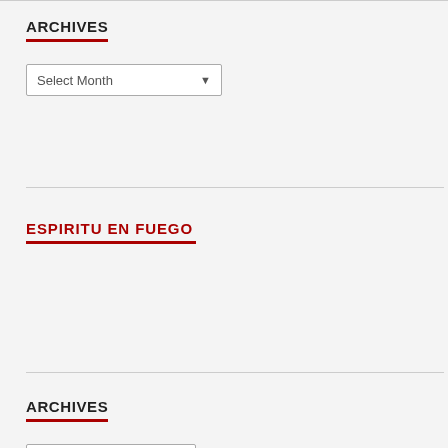ARCHIVES
Select Month
ESPIRITU EN FUEGO
ARCHIVES
Select Month